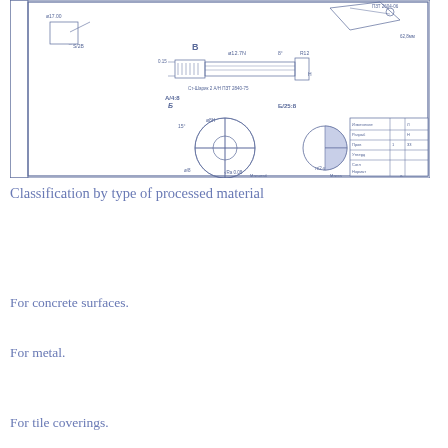[Figure (engineering-diagram): Technical engineering drawing showing a milling cutter tool with cross-sectional views, detail views labeled A-A and B, dimensions including diameters (e.g., Ø12.7N, Ø8H, Ø25H), angles (15°), surface finish marks (Ra 0.08), and a title block in the lower right corner with Russian text.]
Classification by type of processed material
For concrete surfaces.
For metal.
For tile coverings.